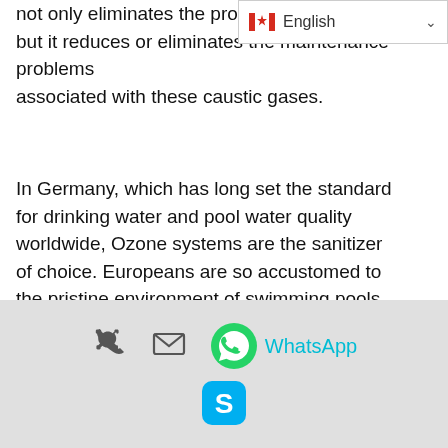not only eliminates the product but it reduces or eliminates the maintenance problems associated with these caustic gases.
[Figure (screenshot): Language selector dropdown showing Canadian flag and 'English' with chevron]
In Germany, which has long set the standard for drinking water and pool water quality worldwide, Ozone systems are the sanitizer of choice. Europeans are so accustomed to the pristine environment of swimming pools without chlorine problems that a group of European swimmers at the Atlanta Olympics refused to enter a chlorinated pool. The pool was subsequently switched to an Ozone treatment system.
Eliminate red eye, rashes
[Figure (infographic): Mobile contact bar with phone icon, mail icon, WhatsApp icon and text, and Skype icon on grey background]